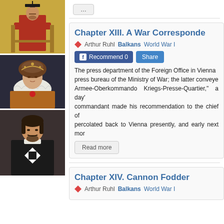[Figure (illustration): Portrait of an East Asian figure in red robes seated on a throne, traditional painting style]
[Figure (illustration): Portrait of Queen Elizabeth I in elaborate ruff collar and ornate dress]
[Figure (illustration): Portrait of a man in black robes with white Maltese cross emblem]
Chapter XIII. A War Corresponde
Arthur Ruhl   Balkans   World War I
Recommend 0   Share
The press department of the Foreign Office in Vienna press bureau of the Ministry of War; the latter conveye Armee-Oberkommando Kriegs-Presse-Quartier," a day' commandant made his recommendation to the chief of percolated back to Vienna presently, and early next mor
Read more
Chapter XIV. Cannon Fodder
Arthur Ruhl   Balkans   World War I